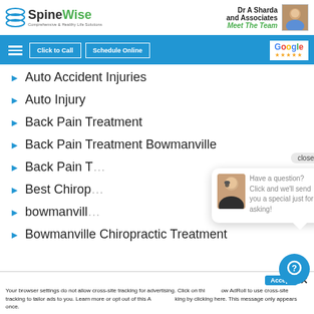[Figure (logo): SpineWise logo with green and dark text and circular icon]
Dr A Sharda and Associates
Meet The Team
[Figure (photo): Doctor headshot photo]
[Figure (screenshot): Navigation bar with hamburger menu, Click to Call and Schedule Online buttons, and Google review stars]
Auto Accident Injuries
Auto Injury
Back Pain Treatment
Back Pain Treatment Bowmanville
Back Pain T...
Best Chirop...
bowmanvill...
Bowmanville Chiropractic Treatment
[Figure (screenshot): Chat popup with headset woman avatar and message: Have a question? Click and we'll send you a special just for asking! with close button]
Your browser settings do not allow cross-site tracking for advertising. Click on this to allow AdRoll to use cross-site tracking to tailor ads to you. Learn more or opt out of this AdRoll tracking by clicking here. This message only appears once.
[Figure (illustration): Blue circular chat/question mark button]